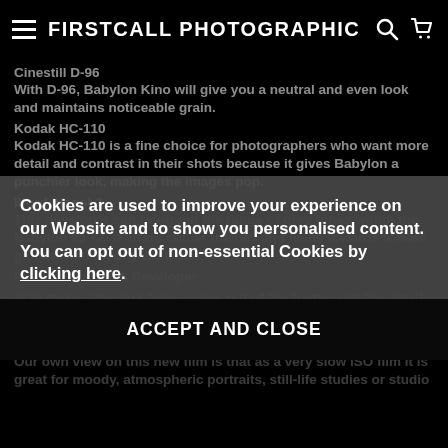FIRSTCALL PHOTOGRAPHIC
Cinestill D-96
With D-96, Babylon Kino will give you a neutral and even look and maintains noticeable grain.
Kodak HC-110
Kodak HC-110 is a fine choice for photographers who want more detail and contrast in their shots because it gives Babylon a punchier look, making the images pop.
Ilford Ilfosol 3
This developer can bring out the range of grey tones within the Babylon 13 +2. It offers cooler themes and leans towards a more gloomy and moody aesthetic.
Firstcall Softmark Developer
RO9 makes the dark tones come out of the frame, and the detail can be impressive too! We feel it is the right choice for various photographic applications.
Our own view on this new film is that as a very slow ISO film it is great for moody, atmospheric portraits, still-life studies or studio
Cookies are used to improve your experience on our Website and to show you personalised content. You can opt out of non-essential Cookies by clicking here.
ACCEPT AND CLOSE